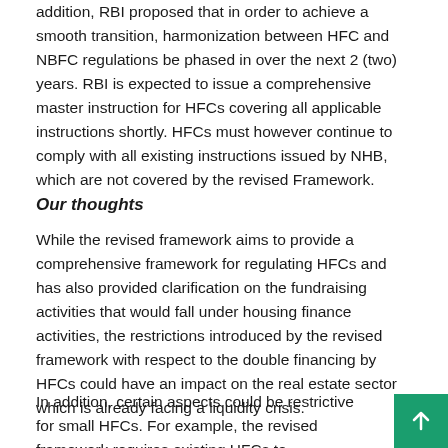addition, RBI proposed that in order to achieve a smooth transition, harmonization between HFC and NBFC regulations be phased in over the next 2 (two) years. RBI is expected to issue a comprehensive master instruction for HFCs covering all applicable instructions shortly. HFCs must however continue to comply with all existing instructions issued by NHB, which are not covered by the revised Framework.
Our thoughts
While the revised framework aims to provide a comprehensive framework for regulating HFCs and has also provided clarification on the fundraising activities that would fall under housing finance activities, the restrictions introduced by the revised framework with respect to the double financing by HFCs could have an impact on the real estate sector which is already facing a liquidity crisis.
In addition, certain aspects could be restrictive for small HFCs. For example, the revised framework requires existing HFCs to